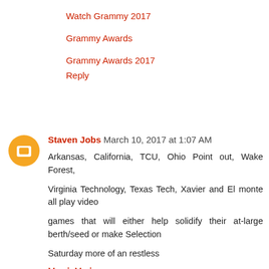Watch Grammy 2017
Grammy Awards
Grammy Awards 2017
Reply
Staven Jobs  March 10, 2017 at 1:07 AM
Arkansas, California, TCU, Ohio Point out, Wake Forest,
Virginia Technology, Texas Tech, Xavier and El monte all play video
games that will either help solidify their at-large berth/seed or make Selection
Saturday more of an restless
March Madness
March Madness Live